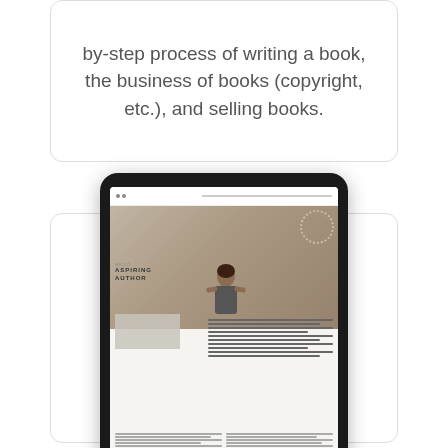by-step process of writing a book, the business of books (copyright, etc.), and selling books.
[Figure (illustration): A tablet device displaying a document/ebook page with 'Hello Aspiring Author' text and a photo of a woman at a desk.]